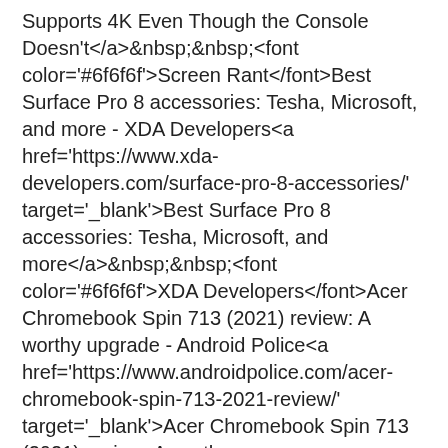Supports 4K Even Though the Console Doesn't</a>&nbsp;&nbsp;<font color='#6f6f6f'>Screen Rant</font>Best Surface Pro 8 accessories: Tesha, Microsoft, and more - XDA Developers<a href='https://www.xda-developers.com/surface-pro-8-accessories/' target='_blank'>Best Surface Pro 8 accessories: Tesha, Microsoft, and more</a>&nbsp;&nbsp;<font color='#6f6f6f'>XDA Developers</font>Acer Chromebook Spin 713 (2021) review: A worthy upgrade - Android Police<a href='https://www.androidpolice.com/acer-chromebook-spin-713-2021-review/' target='_blank'>Acer Chromebook Spin 713 (2021) review: A worthy upgrade</a>&nbsp;&nbsp;<font color='#6f6f6f'>Android Police</font>ASUS